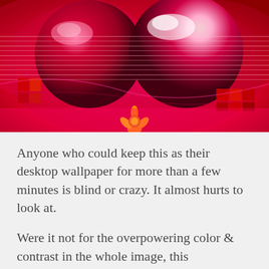[Figure (illustration): Abstract digital art image with vivid red, pink, and magenta tones, featuring two large reflective spheres resembling eyes, set against swirling red and pink background with a yellow flower-like element at the bottom center. The image has horizontal line patterns and grid elements overlaid.]
Anyone who could keep this as their desktop wallpaper for more than a few minutes is blind or crazy. It almost hurts to look at.
Were it not for the overpowering color & contrast in the whole image, this background would be ok. But it's just too much.